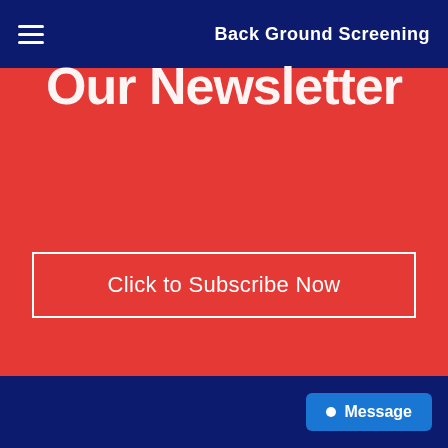Back Ground Screening
[Figure (screenshot): Red background section with partially cropped large white bold text and a 'Click to Subscribe Now' button with white border]
Click to Subscribe Now
Message